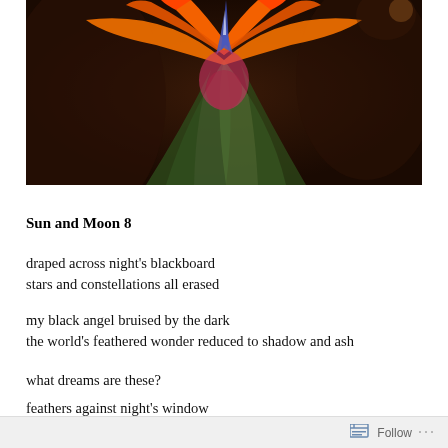[Figure (photo): Close-up photo of a Bird of Paradise flower with orange and blue petals against a dark background]
Sun and Moon 8
draped across night's blackboard
stars and constellations all erased
my black angel bruised by the dark
the world's feathered wonder reduced to shadow and ash
what dreams are these?
feathers against night's window
an angel of darkness descending a steep stairway
tumbling through the night
Follow